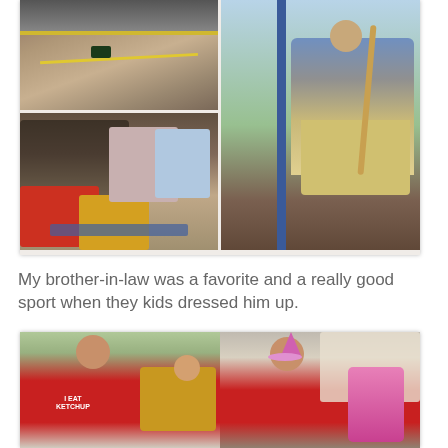[Figure (photo): Collage of three photos: top-left shows a go-kart on a track, bottom-left shows children sitting on the floor playing a board game, right shows a man on playground equipment holding a prop]
My brother-in-law was a favorite and a really good sport when they kids dressed him up.
[Figure (photo): Two photos side by side: left shows a man in a red shirt with a toddler in a yellow shirt on his lap, right shows the same man wearing a princess hat and holding pink toys]